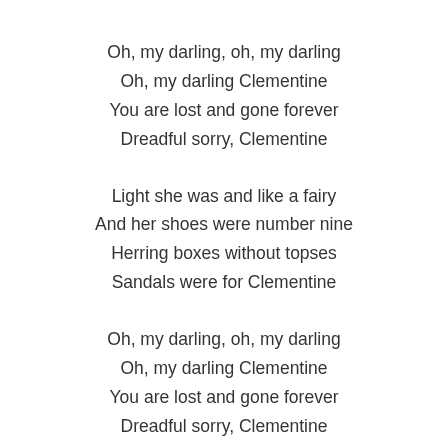Oh, my darling, oh, my darling
Oh, my darling Clementine
You are lost and gone forever
Dreadful sorry, Clementine
Light she was and like a fairy
And her shoes were number nine
Herring boxes without topses
Sandals were for Clementine
Oh, my darling, oh, my darling
Oh, my darling Clementine
You are lost and gone forever
Dreadful sorry, Clementine